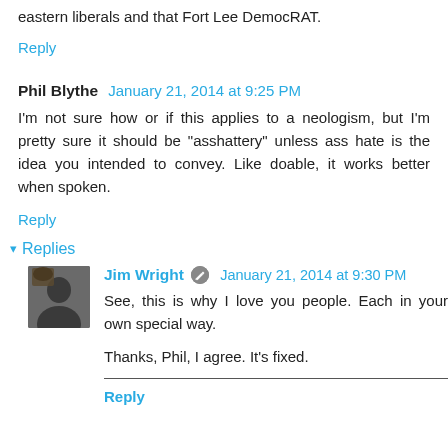eastern liberals and that Fort Lee DemocRAT.
Reply
Phil Blythe  January 21, 2014 at 9:25 PM
I'm not sure how or if this applies to a neologism, but I'm pretty sure it should be "asshattery" unless ass hate is the idea you intended to convey. Like doable, it works better when spoken.
Reply
Replies
Jim Wright  January 21, 2014 at 9:30 PM
See, this is why I love you people. Each in your own special way.

Thanks, Phil, I agree. It's fixed.
Reply